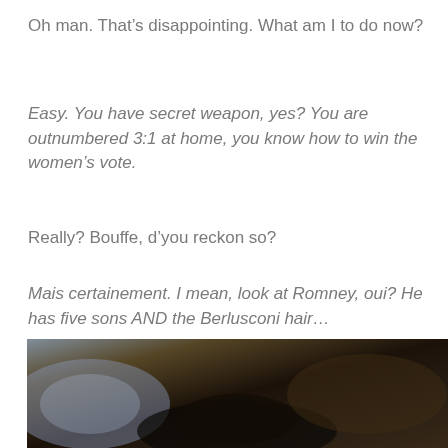Oh man. That’s disappointing. What am I to do now?
Easy. You have secret weapon, yes? You are outnumbered 3:1 at home, you know how to win the women’s vote.
Really? Bouffe, d’you reckon so?
Mais certainement. I mean, look at Romney, oui? He has five sons AND the Berlusconi hair…
[Figure (photo): Dark, low-light photograph showing a person lying down, partially visible, in a dimly lit room with dark surroundings.]